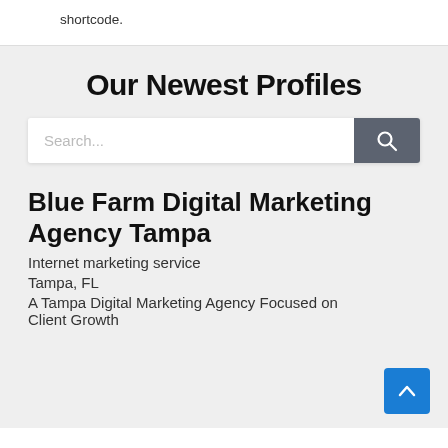shortcode.
Our Newest Profiles
Search...
Blue Farm Digital Marketing Agency Tampa
Internet marketing service
Tampa, FL
A Tampa Digital Marketing Agency Focused on Client Growth